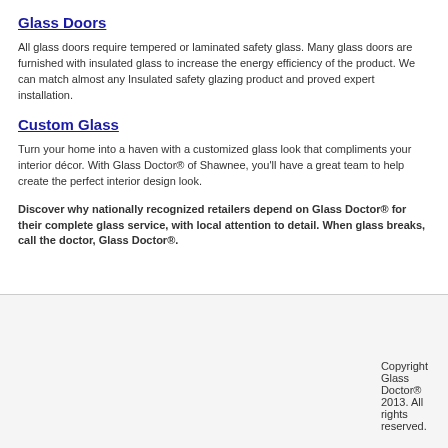Glass Doors
All glass doors require tempered or laminated safety glass. Many glass doors are furnished with insulated glass to increase the energy efficiency of the product. We can match almost any Insulated safety glazing product and proved expert installation.
Custom Glass
Turn your home into a haven with a customized glass look that compliments your interior décor. With Glass Doctor® of Shawnee, you'll have a great team to help create the perfect interior design look.
Discover why nationally recognized retailers depend on Glass Doctor® for their complete glass service, with local attention to detail. When glass breaks, call the doctor, Glass Doctor®.
Copyright Glass Doctor® 2013. All rights reserved.